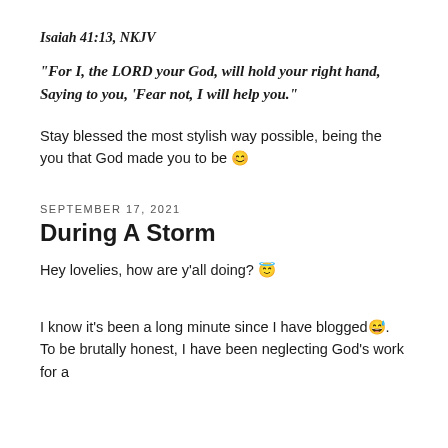Isaiah 41:13, NKJV
“For I, the LORD your God, will hold your right hand, Saying to you, ‘Fear not, I will help you.”
Stay blessed the most stylish way possible, being the you that God made you to be 😊
SEPTEMBER 17, 2021
During A Storm
Hey lovelies, how are y’all doing? 😇
I know it’s been a long minute since I have blogged😅. To be brutally honest, I have been neglecting God’s work for a